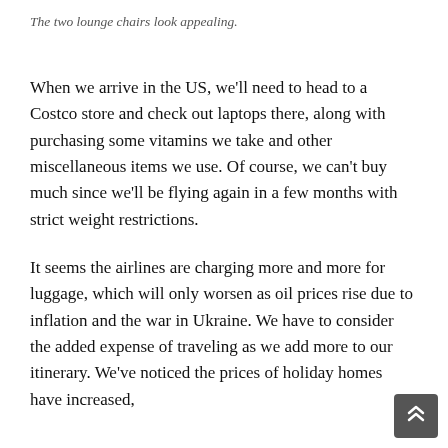The two lounge chairs look appealing.
When we arrive in the US, we'll need to head to a Costco store and check out laptops there, along with purchasing some vitamins we take and other miscellaneous items we use. Of course, we can't buy much since we'll be flying again in a few months with strict weight restrictions.
It seems the airlines are charging more and more for luggage, which will only worsen as oil prices rise due to inflation and the war in Ukraine. We have to consider the added expense of traveling as we add more to our itinerary. We've noticed the prices of holiday homes have increased,